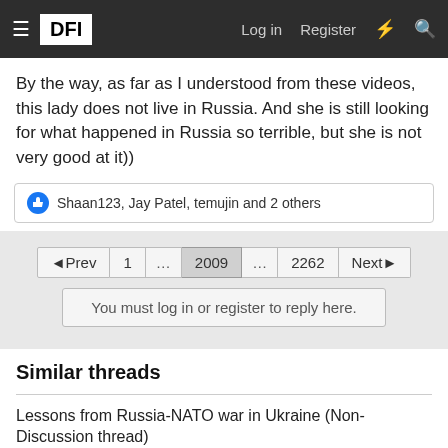DFI — Log in | Register
By the way, as far as I understood from these videos, this lady does not live in Russia. And she is still looking for what happened in Russia so terrible, but she is not very good at it))
Shaan123, Jay Patel, temujin and 2 others
◄Prev  1  ...  2009  ...  2262  Next►
You must log in or register to reply here.
Similar threads
Lessons from Russia-NATO war in Ukraine (Non-Discussion thread)
Apr 16, 2022
Ukraine's Poroshenko to teach NATO how to wage war against